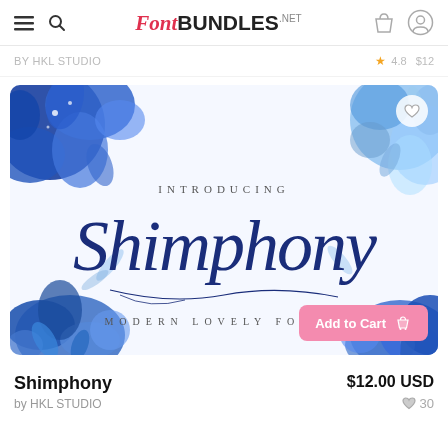FontBundles.net
by HKL STUDIO   ★ 4.8  $12
[Figure (screenshot): Product banner image for the Shimphony font. Shows a decorative calligraphy script font name 'Shimphony' in dark navy blue against a white background with blue floral decorations in the corners. Text reads 'INTRODUCING' above the script and 'MODERN LOVELY FONT' below. An 'Add to Cart' button with a shopping bag icon appears at bottom right in pink.]
Shimphony
$12.00 USD
by HKL STUDIO
♥ 30